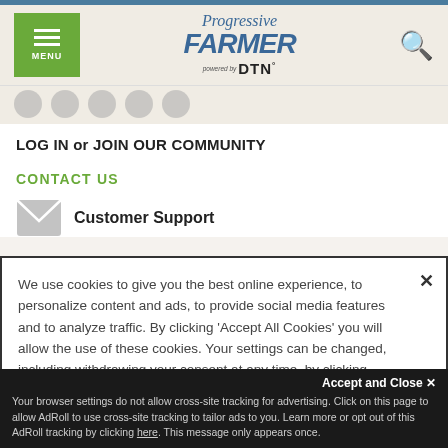Progressive FARMER powered by DTN
LOG IN or JOIN OUR COMMUNITY
CONTACT US
Customer Support
We use cookies to give you the best online experience, to personalize content and ads, to provide social media features and to analyze traffic. By clicking 'Accept All Cookies' you will allow the use of these cookies. Your settings can be changed, including withdrawing your consent at any time, by clicking 'Cookie Settings'. Find out more on how we and third parties use cookies in our Cookie Policy
Accept and Close ✕
Your browser settings do not allow cross-site tracking for advertising. Click on this page to allow AdRoll to use cross-site tracking to tailor ads to you. Learn more or opt out of this AdRoll tracking by clicking here. This message only appears once.